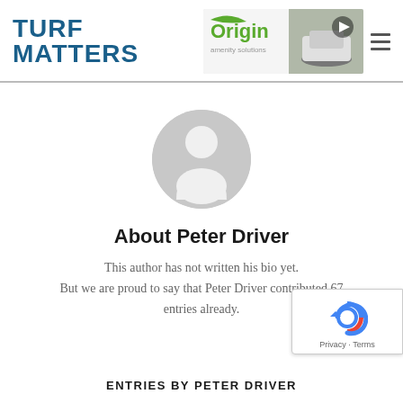TURF MATTERS
[Figure (photo): Origin amenity solutions banner with robot mower image and play button]
[Figure (illustration): Generic grey avatar/person silhouette in circle]
About Peter Driver
This author has not written his bio yet. But we are proud to say that Peter Driver contributed 67 entries already.
[Figure (logo): Google reCAPTCHA badge with Privacy and Terms links]
ENTRIES BY PETER DRIVER